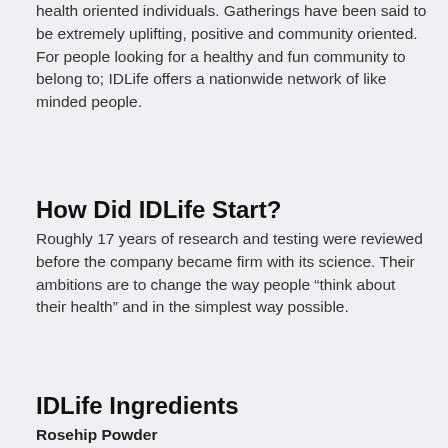health oriented individuals. Gatherings have been said to be extremely uplifting, positive and community oriented. For people looking for a healthy and fun community to belong to; IDLife offers a nationwide network of like minded people.
How Did IDLife Start?
Roughly 17 years of research and testing were reviewed before the company became firm with its science. Their ambitions are to change the way people “think about their health” and in the simplest way possible.
IDLife Ingredients
Rosehip Powder